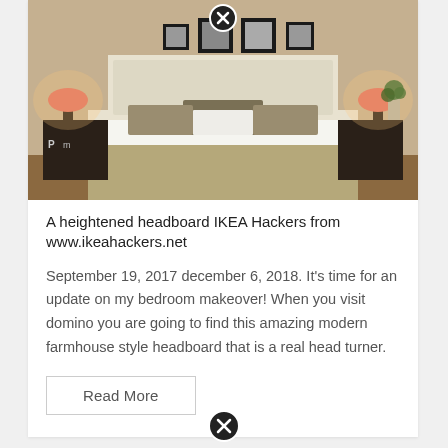[Figure (photo): Bedroom with a styled headboard, two nightstands with pink lamps, framed photos above the headboard, and decorative pillows on the bed.]
A heightened headboard IKEA Hackers from www.ikeahackers.net
September 19, 2017 december 6, 2018. It's time for an update on my bedroom makeover! When you visit domino you are going to find this amazing modern farmhouse style headboard that is a real head turner.
Read More